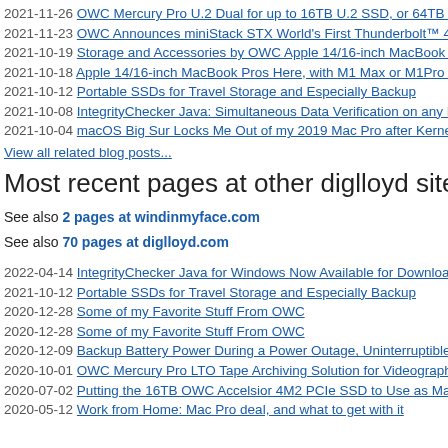2021-11-26 OWC Mercury Pro U.2 Dual for up to 16TB U.2 SSD, or 64TB NVMe M...
2021-11-23 OWC Announces miniStack STX World's First Thunderbolt™ 4 Certified...
2021-10-19 Storage and Accessories by OWC Apple 14/16-inch MacBook Pros M1 P...
2021-10-18 Apple 14/16-inch MacBook Pros Here, with M1 Max or M1Pro CPU: Wha...
2021-10-12 Portable SSDs for Travel Storage and Especially Backup
2021-10-08 IntegrityChecker Java: Simultaneous Data Verification on any Number of...
2021-10-04 macOS Big Sur Locks Me Out of my 2019 Mac Pro after Kernel Panic, R...
View all related blog posts...
Most recent pages at other diglloyd sites:
See also 2 pages at windinmyface.com
See also 70 pages at diglloyd.com
2022-04-14 IntegrityChecker Java for Windows Now Available for Download
2021-10-12 Portable SSDs for Travel Storage and Especially Backup
2020-12-28 Some of my Favorite Stuff From OWC
2020-12-28 Some of my Favorite Stuff From OWC
2020-12-09 Backup Battery Power During a Power Outage, Uninterruptible Power Su...
2020-10-01 OWC Mercury Pro LTO Tape Archiving Solution for Videographers and P...
2020-07-02 Putting the 16TB OWC Accelsior 4M2 PCIe SSD to Use as Main Storage...
2020-05-12 Work from Home: Mac Pro deal, and what to get with it